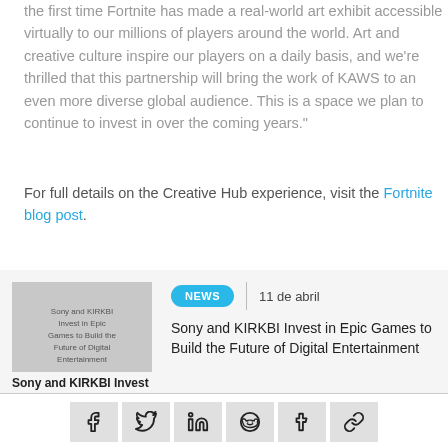the first time Fortnite has made a real-world art exhibit accessible virtually to our millions of players around the world. Art and creative culture inspire our players on a daily basis, and we're thrilled that this partnership will bring the work of KAWS to an even more diverse global audience. This is a space we plan to continue to invest in over the coming years."
For full details on the Creative Hub experience, visit the Fortnite blog post.
[Figure (photo): Thumbnail image for Sony and KIRKBI Invest in Epic Games to Build the Future of Digital Entertainment article]
NEWS | 11 de abril
Sony and KIRKBI Invest in Epic Games to Build the Future of Digital Entertainment
Social share buttons: Facebook, Twitter, LinkedIn, Reddit, Tumblr, Link